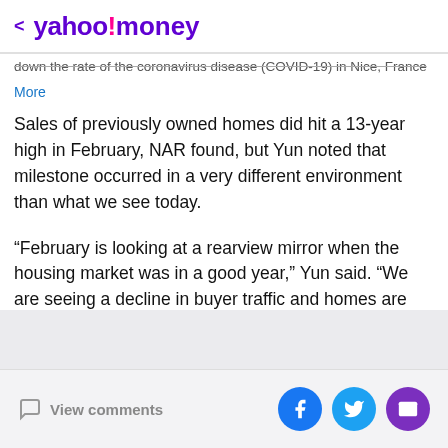< yahoo!money
down the rate of the coronavirus disease (COVID-19) in Nice, France
More
Sales of previously owned homes did hit a 13-year high in February, NAR found, but Yun noted that milestone occurred in a very different environment than what we see today.
“February is looking at a rearview mirror when the housing market was in a good year,” Yun said. “We are seeing a decline in buyer traffic and homes are getting delisted.”
View comments